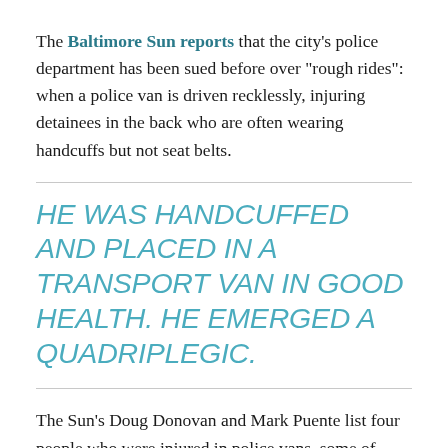The Baltimore Sun reports that the city's police department has been sued before over "rough rides": when a police van is driven recklessly, injuring detainees in the back who are often wearing handcuffs but not seat belts.
HE WAS HANDCUFFED AND PLACED IN A TRANSPORT VAN IN GOOD HEALTH. HE EMERGED A QUADRIPLEGIC.
The Sun's Doug Donovan and Mark Puente list four people who were injured in police vans, some of whom won civil lawsuits against the city: